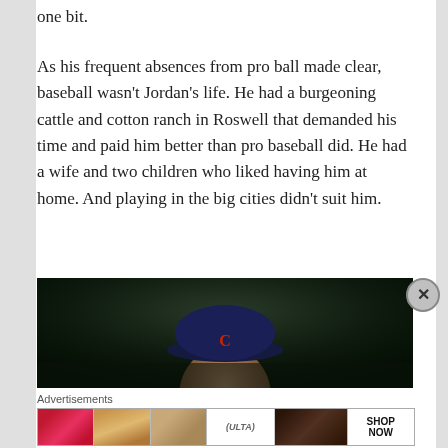one bit.
As his frequent absences from pro ball made clear, baseball wasn’t Jordan’s life. He had a burgeoning cattle and cotton ranch in Roswell that demanded his time and paid him better than pro baseball did. He had a wife and two children who liked having him at home. And playing in the big cities didn't suit him.
[Figure (photo): A man wearing a dark navy baseball cap with a red letter C, partially visible face, dark background suggesting a stadium or dugout environment.]
Advertisements
[Figure (infographic): Ulta Beauty advertisement strip featuring makeup imagery: red lips with brush, eye makeup, Ulta logo, dramatic eye, and SHOP NOW text.]